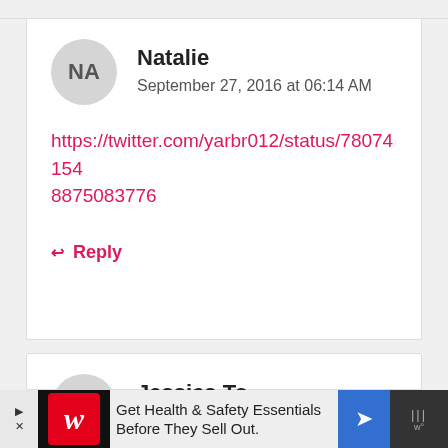Natalie
September 27, 2016 at 06:14 AM
https://twitter.com/yarbr012/status/780741548875083776
↩ Reply
Jessica To
September 27, 2016 at 01:58 PM
Get Health & Safety Essentials Before They Sell Out.